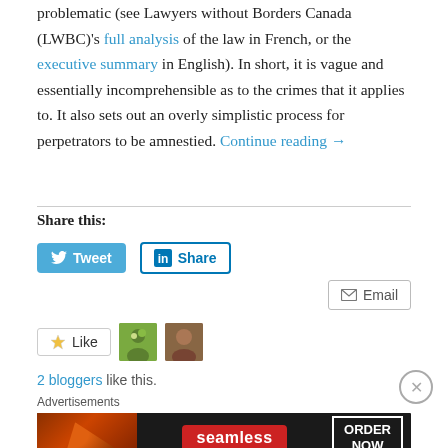problematic (see Lawyers without Borders Canada (LWBC)'s full analysis of the law in French, or the executive summary in English). In short, it is vague and essentially incomprehensible as to the crimes that it applies to. It also sets out an overly simplistic process for perpetrators to be amnestied. Continue reading →
Share this:
[Figure (screenshot): Tweet and LinkedIn Share buttons, then Email button]
[Figure (screenshot): Like button with 2 blogger avatars, 2 bloggers like this.]
Advertisements
[Figure (screenshot): Seamless pizza advertisement banner with ORDER NOW button]